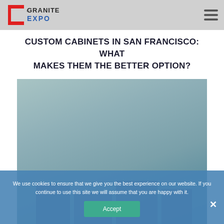Granite Expo
CUSTOM CABINETS IN SAN FRANCISCO: WHAT MAKES THEM THE BETTER OPTION?
[Figure (photo): Photo of custom kitchen cabinets with teal/blue-grey color scheme, showing cabinet doors and countertop area]
We use cookies to ensure that we give you the best experience on our website. If you continue to use this site we will assume that you are happy with it.